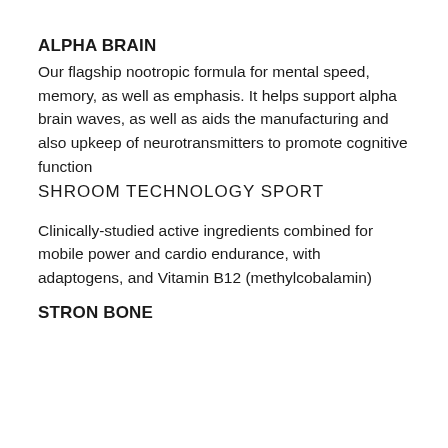ALPHA BRAIN
Our flagship nootropic formula for mental speed, memory, as well as emphasis. It helps support alpha brain waves, as well as aids the manufacturing and also upkeep of neurotransmitters to promote cognitive function
SHROOM TECHNOLOGY SPORT
Clinically-studied active ingredients combined for mobile power and cardio endurance, with adaptogens, and Vitamin B12 (methylcobalamin)
STRON BONE